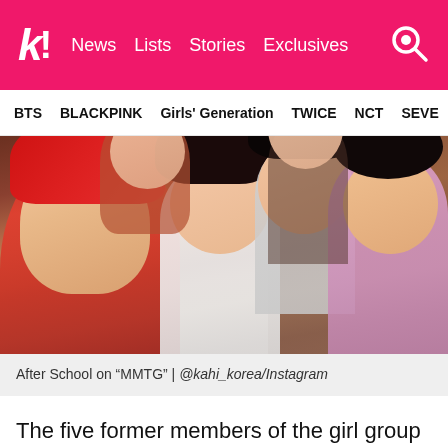k! News Lists Stories Exclusives
BTS BLACKPINK Girls' Generation TWICE NCT SEVE
[Figure (photo): Group selfie of five former After School members at MMTG, including a woman with red hair in foreground, others smiling and posing behind her in an indoor setting.]
After School on “MMTG” | @kahi_korea/Instagram
The five former members of the girl group came together to perform “Bang!!”